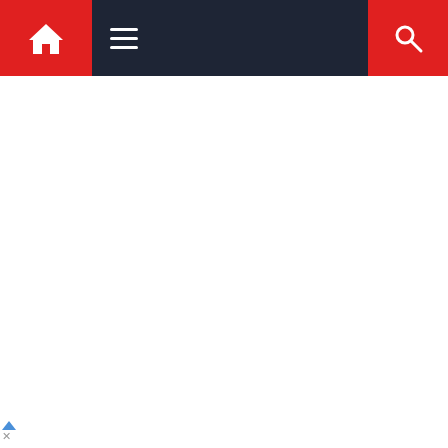[Figure (screenshot): Website navigation bar with red home icon button on left, dark navy center with hamburger menu icon, and red search icon button on right]
[Figure (screenshot): Collapsed dropdown tab showing a downward chevron arrow, indicating a collapsible section]
[Figure (screenshot): Bottom info bar showing a restaurant logo (orange square with fork/spoon icon and text), service options 'Dine-in' and 'Curbside pickup' with green checkmarks, and a blue navigation/directions diamond icon on the right. Ad indicators (triangle and X) appear at the bottom left.]